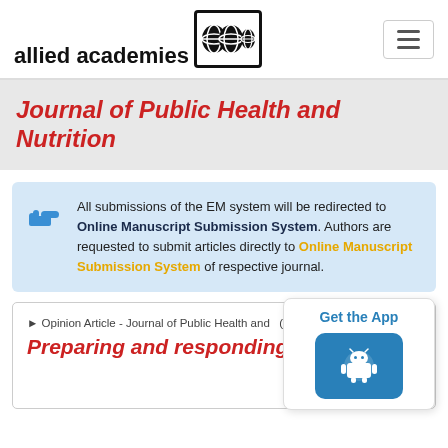[Figure (logo): Allied Academies logo with globe icon in black box]
Journal of Public Health and Nutrition
All submissions of the EM system will be redirected to Online Manuscript Submission System. Authors are requested to submit articles directly to Online Manuscript Submission System of respective journal.
Opinion Article - Journal of Public Health and (2022) Volume 5, Issue 5
Preparing and responding to